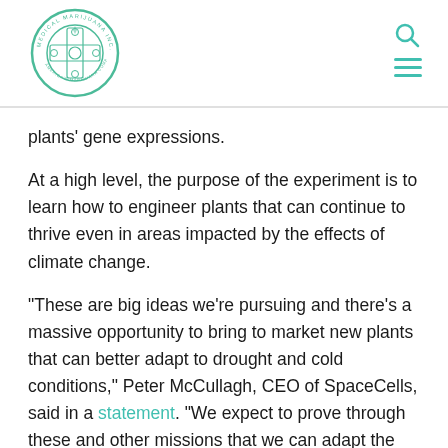Medical Marijuana Inc. logo with search and menu icons
plants' gene expressions.
At a high level, the purpose of the experiment is to learn how to engineer plants that can continue to thrive even in areas impacted by the effects of climate change.
“These are big ideas we’re pursuing and there’s a massive opportunity to bring to market new plants that can better adapt to drought and cold conditions,” Peter McCullagh, CEO of SpaceCells, said in a statement. “We expect to prove through these and other missions that we can adapt the food supply to climate change.”
The experiment also comes as commercial space